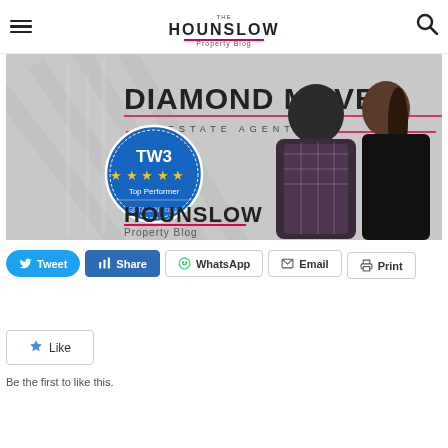The Hounslow Property Blog
[Figure (photo): Diamond Move Estate Agents promotional banner showing two people (a man in a checked blazer and a woman in black) with 'DIAMOND MOVE ESTATE AGENTS' text, a blue TW3 Top Performer badge with 5 stars from GETAGENT.co.uk, and 'The Hounslow Property Blog' logo overlay]
[Figure (infographic): Social share buttons row: Tweet (blue rounded), Share (blue rectangular), WhatsApp (outline), Email (outline), Print (outline)]
[Figure (other): Like button (star icon + Like text, outlined box) with 'Be the first to like this.' text below]